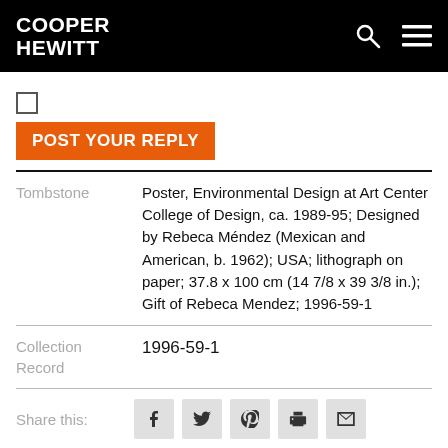COOPER HEWITT
POST YOUR REPLY
Tombstone: Poster, Environmental Design at Art Center College of Design, ca. 1989-95; Designed by Rebeca Méndez (Mexican and American, b. 1962); USA; lithograph on paper; 37.8 x 100 cm (14 7/8 x 39 3/8 in.); Gift of Rebeca Mendez; 1996-59-1
Collection Record: 1996-59-1
Share this: